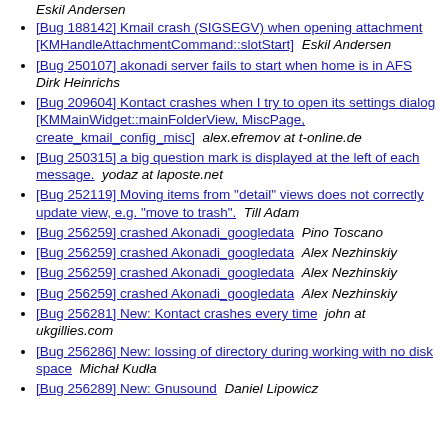Eskil Andersen
[Bug 188142] Kmail crash (SIGSEGV) when opening attachment [KMHandleAttachmentCommand::slotStart]  Eskil Andersen
[Bug 250107] akonadi server fails to start when home is in AFS  Dirk Heinrichs
[Bug 209604] Kontact crashes when I try to open its settings dialog [KMMainWidget::mainFolderView, MiscPage, create_kmail_config_misc]  alex.efremov at t-online.de
[Bug 250315] a big question mark is displayed at the left of each message.  yodaz at laposte.net
[Bug 252119] Moving items from "detail" views does not correctly update view, e.g. "move to trash".  Till Adam
[Bug 256259] crashed Akonadi_googledata  Pino Toscano
[Bug 256259] crashed Akonadi_googledata  Alex Nezhinskiy
[Bug 256259] crashed Akonadi_googledata  Alex Nezhinskiy
[Bug 256259] crashed Akonadi_googledata  Alex Nezhinskiy
[Bug 256281] New: Kontact crashes every time  john at ukgillies.com
[Bug 256286] New: lossing of directory during working with no disk space  Michał Kudła
[Bug 256289] New: Gnusound  Daniel Lipowicz